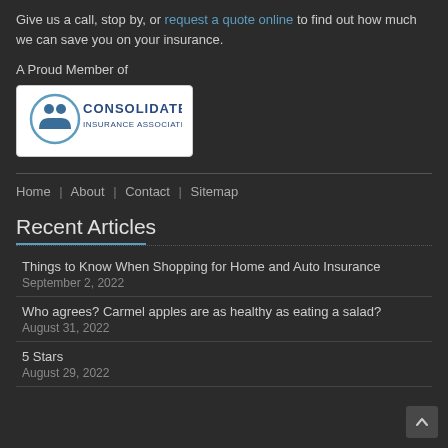Give us a call, stop by, or request a quote online to find out how much we can save you on your insurance.
A Proud Member of
[Figure (logo): Consolidated Insurance Associates logo - circular icon with two figures and oval border, blue text reading CONSOLIDATED INSURANCE ASSOCIATES]
Home | About | Contact | Sitemap
Recent Articles
Things to Know When Shopping for Home and Auto Insurance
September 2, 2022
Who agrees? Carmel apples are as healthy as eating a salad?
August 31, 2022
5 Stars
August 29, 2022